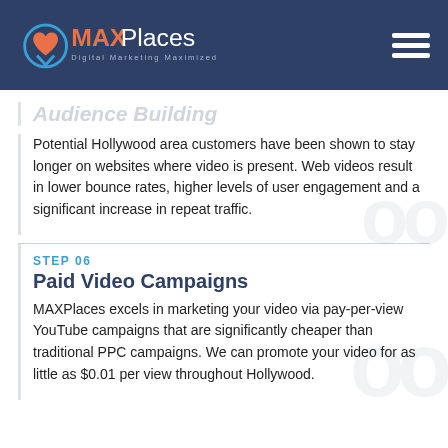MAXPlaces Digital Marketing Maximized
Audience Building
Potential Hollywood area customers have been shown to stay longer on websites where video is present. Web videos result in lower bounce rates, higher levels of user engagement and a significant increase in repeat traffic.
STEP 06
Paid Video Campaigns
MAXPlaces excels in marketing your video via pay-per-view YouTube campaigns that are significantly cheaper than traditional PPC campaigns. We can promote your video for as little as $0.01 per view throughout Hollywood.